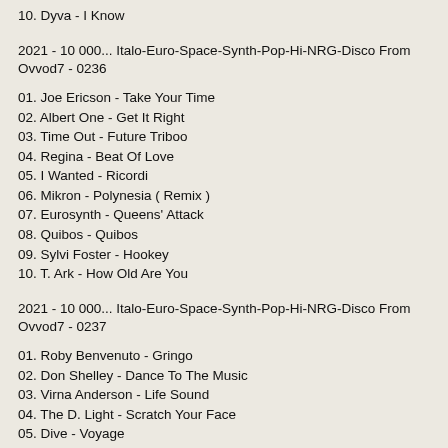10. Dyva - I Know
2021 - 10 000... Italo-Euro-Space-Synth-Pop-Hi-NRG-Disco From Ovvod7 - 0236
01. Joe Ericson - Take Your Time
02. Albert One - Get It Right
03. Time Out - Future Triboo
04. Regina - Beat Of Love
05. I Wanted - Ricordi
06. Mikron - Polynesia ( Remix )
07. Eurosynth - Queens' Attack
08. Quibos - Quibos
09. Sylvi Foster - Hookey
10. T. Ark - How Old Are You
2021 - 10 000... Italo-Euro-Space-Synth-Pop-Hi-NRG-Disco From Ovvod7 - 0237
01. Roby Benvenuto - Gringo
02. Don Shelley - Dance To The Music
03. Virna Anderson - Life Sound
04. The D. Light - Scratch Your Face
05. Dive - Voyage
06. Vincent Thoma - Country Lovers
07. Everdune - Dark Racer ( Legend Version )
08. Brian Martin - Sex Tonight
09. Milou - Sentimental Lover